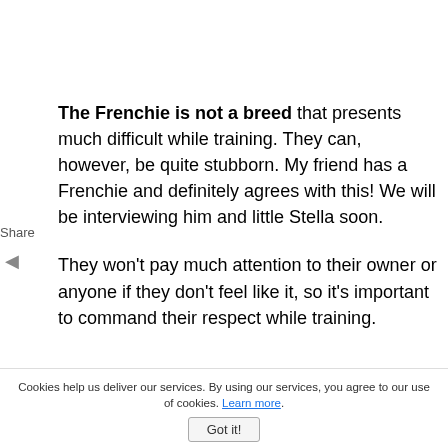The Frenchie is not a breed that presents much difficult while training. They can, however, be quite stubborn. My friend has a Frenchie and definitely agrees with this! We will be interviewing him and little Stella soon.
They won't pay much attention to their owner or anyone if they don't feel like it, so it's important to command their respect while training.
Share
Cookies help us deliver our services. By using our services, you agree to our use of cookies. Learn more.
Got it!